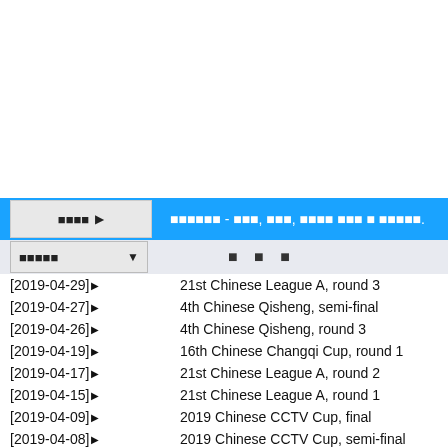[Figure (screenshot): Blank white area at top of page]
■■■■ ▶  ■■■■■■ - ■■■, ■■■, ■■■■ ■■■ ■ ■■■■■.
■■■■■ ▼   ■ ■ ■
[2019-04-29] ▶  21st Chinese League A, round 3
[2019-04-27] ▶  4th Chinese Qisheng, semi-final
[2019-04-26] ▶  4th Chinese Qisheng, round 3
[2019-04-19] ▶  16th Chinese Changqi Cup, round 1
[2019-04-17] ▶  21st Chinese League A, round 2
[2019-04-15] ▶  21st Chinese League A, round 1
[2019-04-09] ▶  2019 Chinese CCTV Cup, final
[2019-04-08] ▶  2019 Chinese CCTV Cup, semi-final
[2019-04-06] ▶  24th LG Cup, preliminary
[2019-03-30] ▶  2019 Chinese CCTV Cup, round 4
[2019-03-29] ▶  2019 Chinese CCTV Cup, round 3
[2019-03-28] ▶  2019 Chinese CCTV Cup, round 2
[2019-03-26] ▶  10th Chinese Longxing, group B
[2019-03-13] ▶  10th Chinese Longxing, group B
[2019-03-12] ▶  10th Chinese Longxing, group B
[2019-03-07] ▶  10th Chinese Longxing, preliminary